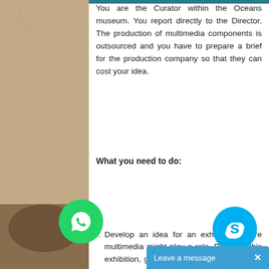[Figure (photo): Background image of an old map or parchment with handwriting, brownish tan tones, occupying the left side of the page]
You are the Curator within the Oceans museum. You report directly to the Director. The production of multimedia components is outsourced and you have to prepare a brief for the production company so that they can cost your idea.
What you need to do:
Develop an idea for an exhibition where multimedia might play a role. Describe this exhibition, giving a sense of its aims, main storylines, and audience in two to three paragraphs. (This is only a sketch to set the context for your multimedia interactive component).